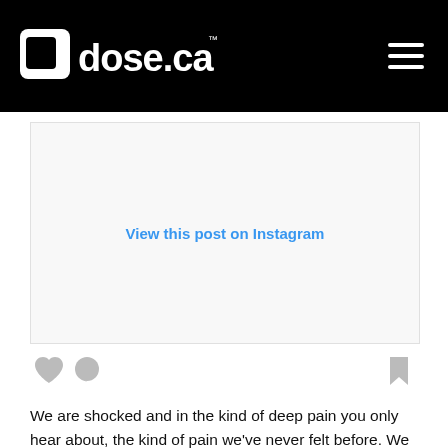dose.ca
[Figure (screenshot): Instagram embed placeholder with 'View this post on Instagram' link in blue]
[Figure (infographic): Social interaction icons: heart, comment bubble (left side), bookmark (right side)]
We are shocked and in the kind of deep pain you only hear about, the kind of pain we've never felt before. We were never able to stop the bleeding and give our baby the fluids he needed, despite bags and bags of blood transfusions. It just wasn't enough... We never decide on our babies!